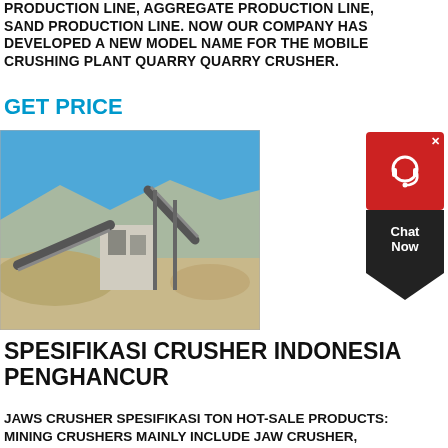PRODUCTION LINE, AGGREGATE PRODUCTION LINE, SAND PRODUCTION LINE. NOW OUR COMPANY HAS DEVELOPED A NEW MODEL NAME FOR THE MOBILE CRUSHING PLANT QUARRY QUARRY CRUSHER.
GET PRICE
[Figure (photo): Outdoor quarry crushing plant with conveyor belts and machinery against a blue sky, with piles of crushed rock/sand]
[Figure (other): Red and black chat widget with headset icon and 'Chat Now' label]
SPESIFIKASI CRUSHER INDONESIA PENGHANCUR
JAWS CRUSHER SPESIFIKASI TON HOT-SALE PRODUCTS: MINING CRUSHERS MAINLY INCLUDE JAW CRUSHER, CONE CRUSHER, IMPACT CRUSHER, MOBILE CRUSHER FOR CRUSHING.